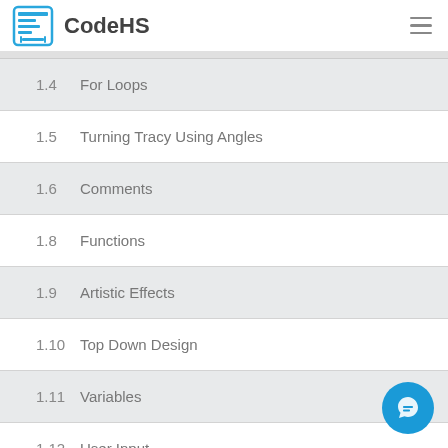CodeHS
1.4  For Loops
1.5  Turning Tracy Using Angles
1.6  Comments
1.8  Functions
1.9  Artistic Effects
1.10  Top Down Design
1.11  Variables
1.12  User Input
1.13  ...